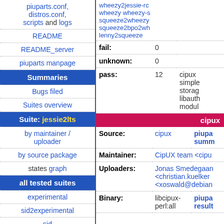piuparts.conf, distros.conf, scripts and logs
README
README_server
piuparts manpage
Summaries
Bugs filed
Suites overview
Suite: jessie2lts
by maintainer / uploader
by source package
states graph
all tested suites
experimental
sid2experimental
sid
sid-strict
|  | Count | Packages |
| --- | --- | --- |
|  | wheezy2jessie-rc, wheezy wheezy-s, squeeze2wheezy, squeeze2bpo2wh, lenny2squeeze |  |
| fail: | 0 |  |
| unknown: | 0 |  |
| pass: | 12 | cipux simple storag libauth modul |
cipux
| Field | Value1 | Value2 |
| --- | --- | --- |
| Source: | cipux | piupa summ |
| Maintainer: | CipUX team <cipu |  |
| Uploaders: | Jonas Smedegaan <christian.kuelker <xoswald@debian |  |
| Binary: | libcipux-perl:all | piupa result |